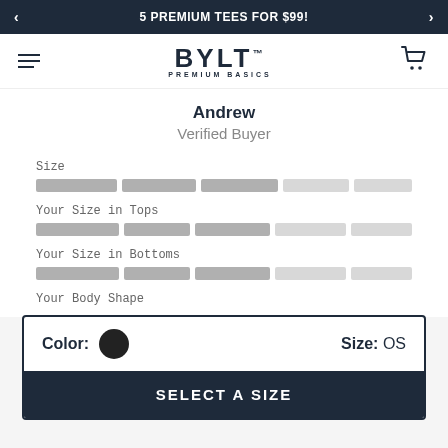5 PREMIUM TEES FOR $99!
[Figure (logo): BYLT PREMIUM BASICS logo]
Andrew
Verified Buyer
Size
Your Size in Tops
Your Size in Bottoms
Your Body Shape
Color: ● Size: OS
SELECT A SIZE